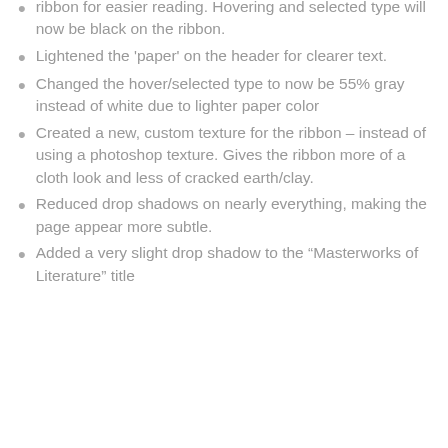ribbon for easier reading. Hovering and selected type will now be black on the ribbon.
Lightened the 'paper' on the header for clearer text.
Changed the hover/selected type to now be 55% gray instead of white due to lighter paper color
Created a new, custom texture for the ribbon – instead of using a photoshop texture. Gives the ribbon more of a cloth look and less of cracked earth/clay.
Reduced drop shadows on nearly everything, making the page appear more subtle.
Added a very slight drop shadow to the “Masterworks of Literature” title